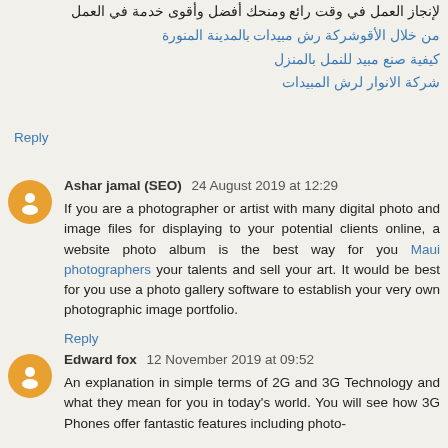لإنجاز العمل في وقت رائع ومنحك أفضل وأقوى خدمة في العمل
من خلال الأقوشركة رش مبيدات بالمدينة المنورة
كيفية صنع مبيد للنمل بالمنزل
شركة الانوار لرش المبيدات
Reply
Ashar jamal (SEO) 24 August 2019 at 12:29
If you are a photographer or artist with many digital photo and image files for displaying to your potential clients online, a website photo album is the best way for you Maui photographers your talents and sell your art. It would be best for you use a photo gallery software to establish your very own photographic image portfolio.
Reply
Edward fox 12 November 2019 at 09:52
An explanation in simple terms of 2G and 3G Technology and what they mean for you in today's world. You will see how 3G Phones offer fantastic features including photo-